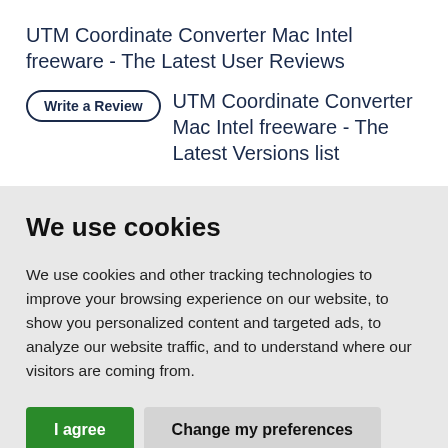UTM Coordinate Converter Mac Intel freeware - The Latest User Reviews
UTM Coordinate Converter Mac Intel freeware - The Latest Versions list
We use cookies
We use cookies and other tracking technologies to improve your browsing experience on our website, to show you personalized content and targeted ads, to analyze our website traffic, and to understand where our visitors are coming from.
I agree | Change my preferences